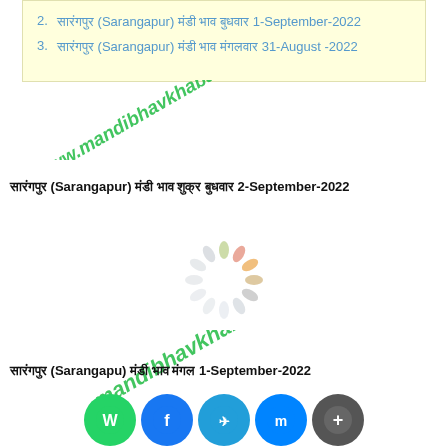सारंगपुर (Sarangapur) मंडी भाव बुधवार 1-September-2022
सारंगपुर (Sarangapur) मंडी भाव मंगलवार 31-August -2022
सारंगपुर (Sarangapur) मंडी भाव शुक्र बुधवार 2-September-2022
[Figure (other): Loading spinner / throbber animation graphic in center of page]
[Figure (other): Watermark text: www.mandibhavkhabar.com overlaid diagonally]
सारंगपुर (Sarangapu) मंडी भाव मंगल 1-September-2022
[Figure (other): Social sharing icons: WhatsApp, Facebook, Telegram, Messenger, More]